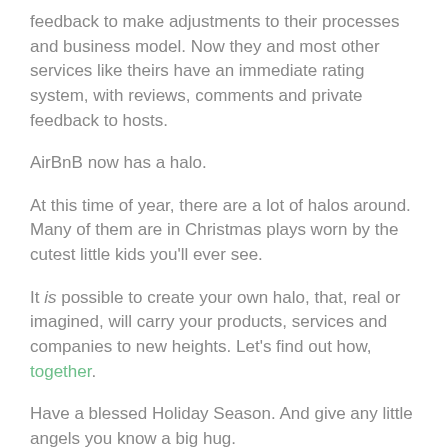feedback to make adjustments to their processes and business model. Now they and most other services like theirs have an immediate rating system, with reviews, comments and private feedback to hosts.
AirBnB now has a halo.
At this time of year, there are a lot of halos around. Many of them are in Christmas plays worn by the cutest little kids you'll ever see.
It is possible to create your own halo, that, real or imagined, will carry your products, services and companies to new heights. Let's find out how, together.
Have a blessed Holiday Season. And give any little angels you know a big hug.